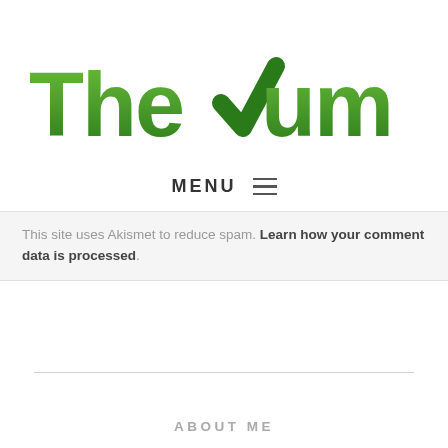[Figure (logo): The Yum List logo — bold green gradient text with a green checkmark replacing the Y in 'Yum']
MENU ≡
This site uses Akismet to reduce spam. Learn how your comment data is processed.
ABOUT ME